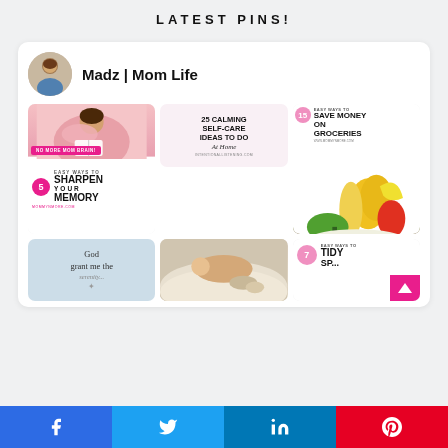LATEST PINS!
Madz | Mom Life
[Figure (screenshot): Pinterest pin: woman in pink reading a book with text '5 Easy Ways to Sharpen Your Memory - No More Mom Brain!']
[Figure (screenshot): Pinterest pin: '25 Calming Self-Care Ideas To Do At Home - intentionallistening.com']
[Figure (screenshot): Pinterest pin: '15 Easy Ways to Save Money on Groceries - www.mommynmore.com' with vegetables]
[Figure (screenshot): Pinterest pin: woman lying on bed reading]
[Figure (screenshot): Pinterest pin: 'God grant me the serenity...']
[Figure (screenshot): Pinterest pin: woman with baby in bed]
[Figure (screenshot): Pinterest pin: '7 Easy Ways to Tidy...' with pink accent]
Share buttons: Facebook, Twitter, LinkedIn, Pinterest